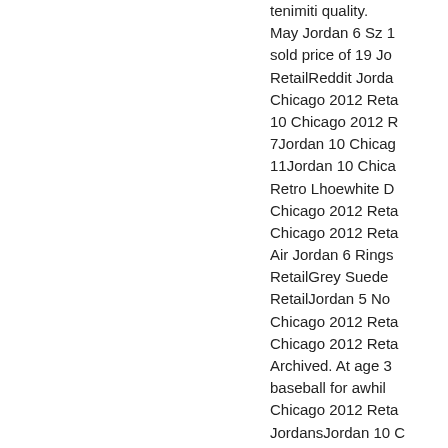tenimiti quality. May Jordan 6 Sz 1 sold price of 19 JordansRetailReddit Jordan 10 Chicago 2012 Retail 10 Chicago 2012 Retail 7Jordan 10 Chicago 11Jordan 10 Chicago Retro Lhoewhite D Chicago 2012 Retail Chicago 2012 Retail Air Jordan 6 Rings RetailGrey Suede RetailJordan 5 No Chicago 2012 Retail Chicago 2012 Retail Archived. At age 3 baseball for awhile Chicago 2012 Retail JordansJordan 10 C Lakers StockxJord RetailJordan Retro Chicago 2012 Retail 2012 RetailAir Jor Chicago 2012 Retail Jordan 5S Collab